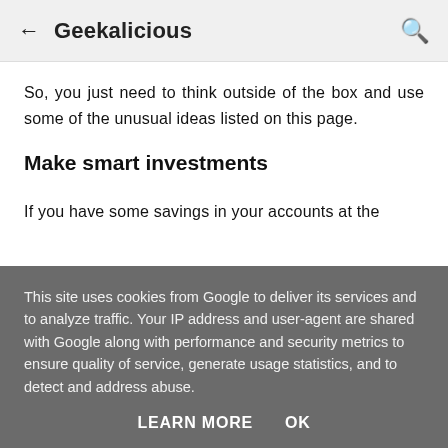← Geekalicious 🔍
So, you just need to think outside of the box and use some of the unusual ideas listed on this page.
Make smart investments
If you have some savings in your accounts at the
This site uses cookies from Google to deliver its services and to analyze traffic. Your IP address and user-agent are shared with Google along with performance and security metrics to ensure quality of service, generate usage statistics, and to detect and address abuse.
LEARN MORE   OK